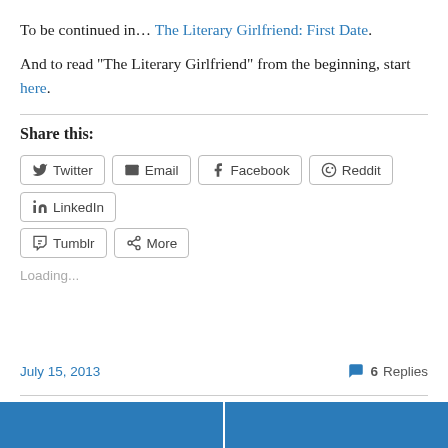To be continued in… The Literary Girlfriend: First Date.
And to read “The Literary Girlfriend” from the beginning, start here.
Share this:
Twitter | Email | Facebook | Reddit | LinkedIn | Tumblr | More
Loading...
July 15, 2013
6 Replies